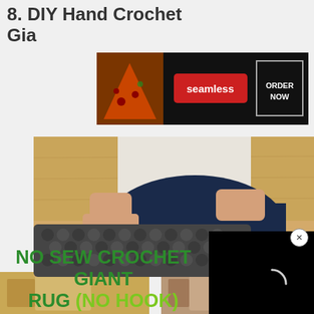8. DIY Hand Crochet Gia…
[Figure (advertisement): Seamless food delivery ad banner with pizza image, red seamless button, and ORDER NOW button on dark background]
[Figure (photo): Person kneeling on wooden floor working on a large dark grey hand-crocheted rug/cushion]
[Figure (screenshot): Black video player overlay with loading spinner]
No Sew Crochet Giant Rug (No Hook)
[Figure (photo): Two thumbnail images at bottom of page showing crochet project previews]